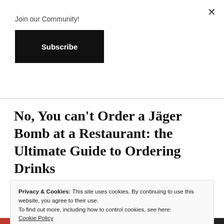×
Join our Community!
Subscribe
No, You can't Order a Jäger Bomb at a Restaurant: the Ultimate Guide to Ordering Drinks
Privacy & Cookies: This site uses cookies. By continuing to use this website, you agree to their use.
To find out more, including how to control cookies, see here:
Cookie Policy
Close and accept